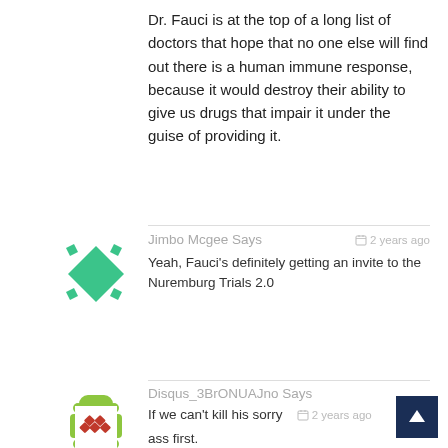Dr. Fauci is at the top of a long list of doctors that hope that no one else will find out there is a human immune response, because it would destroy their ability to give us drugs that impair it under the guise of providing it.
[Figure (illustration): Green snowflake/quilt pattern avatar for user Jimbo Mcgee]
Jimbo Mcgee Says  2 years ago
Yeah, Fauci's definitely getting an invite to the Nuremburg Trials 2.0
[Figure (illustration): Olive/lime green dotted ring pattern avatar for user Disqus_3BrONUAJno]
Disqus_3BrONUAJno Says
If we can't kill his sorry ass first.  2 years ago
[Figure (illustration): Red diamond/quilt pattern avatar for third commenter (partial, cut off at bottom)]